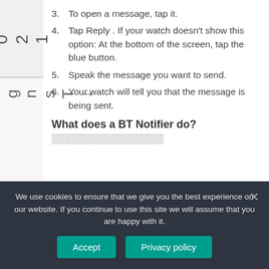0 2 1
1 0 Sign ST
3. To open a message, tap it.
4. Tap Reply . If your watch doesn't show this option: At the bottom of the screen, tap the blue button.
5. Speak the message you want to send.
6. Your watch will tell you that the message is being sent.
What does a BT Notifier do?
(partial text cut off)
We use cookies to ensure that we give you the best experience on our website. If you continue to use this site we will assume that you are happy with it.